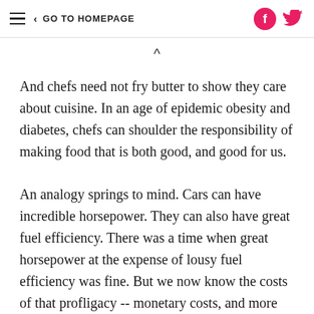≡ < GO TO HOMEPAGE
And chefs need not fry butter to show they care about cuisine. In an age of epidemic obesity and diabetes, chefs can shoulder the responsibility of making food that is both good, and good for us.
An analogy springs to mind. Cars can have incredible horsepower. They can also have great fuel efficiency. There was a time when great horsepower at the expense of lousy fuel efficiency was fine. But we now know the costs of that profligacy -- monetary costs, and more importantly, environmental costs. We are now inclined to demand both fuel economy and